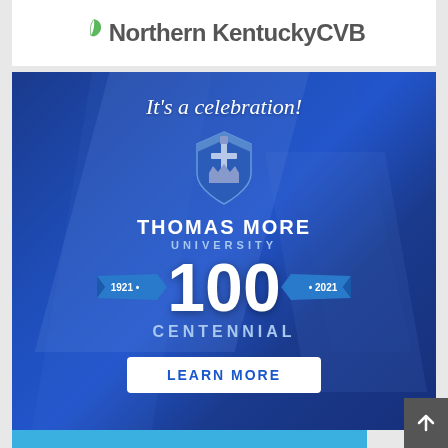[Figure (logo): Northern Kentucky CVB logo with green leaf icon and gray text]
[Figure (infographic): Thomas More University 100th Centennial advertisement. Blue background with diagonal light shapes. Text: It's a celebration! Thomas More University shield logo. THOMAS MORE UNIVERSITY 100 CENTENNIAL 1921 · 100 · 2021. LEARN MORE button.]
[Figure (other): Partial bottom banner in light blue, partially visible]